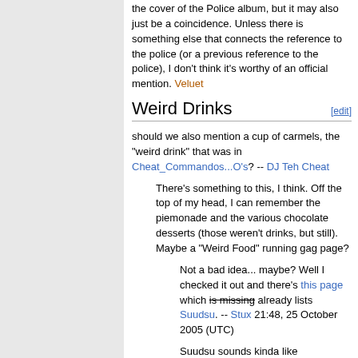the cover of the Police album, but it may also just be a coincidence. Unless there is something else that connects the reference to the police (or a previous reference to the police), I don't think it's worthy of an official mention. Veluet
Weird Drinks [edit]
should we also mention a cup of carmels, the "weird drink" that was in Cheat_Commandos...O's? -- DJ Teh Cheat
There's something to this, I think. Off the top of my head, I can remember the piemonade and the various chocolate desserts (those weren't drinks, but still). Maybe a "Weird Food" running gag page?
Not a bad idea... maybe? Well I checked it out and there's this page which is missing already lists Suudsu. -- Stux 21:48, 25 October 2005 (UTC)
Suudsu sounds kinda like